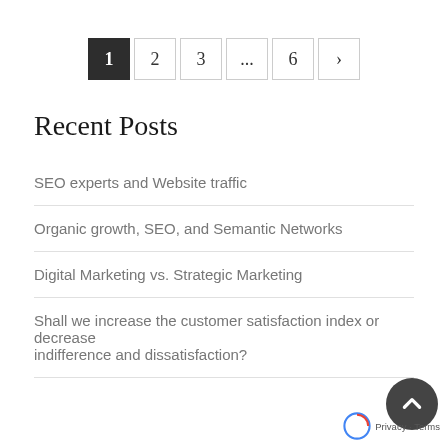[Figure (other): Pagination control showing buttons: 1 (active/dark), 2, 3, ..., 6, >]
Recent Posts
SEO experts and Website traffic
Organic growth, SEO, and Semantic Networks
Digital Marketing vs. Strategic Marketing
Shall we increase the customer satisfaction index or decrease indifference and dissatisfaction?
[Figure (other): Back to top circular button with upward chevron icon, overlaid with reCAPTCHA logo and Privacy - Terms footer text]